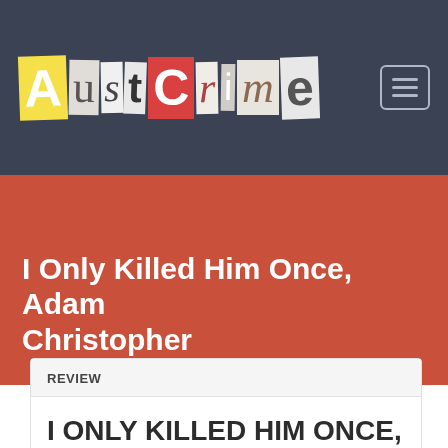AustCrime
I Only Killed Him Once, Adam Christopher
REVIEW
I ONLY KILLED HIM ONCE, ADAM CHRISTOPHER